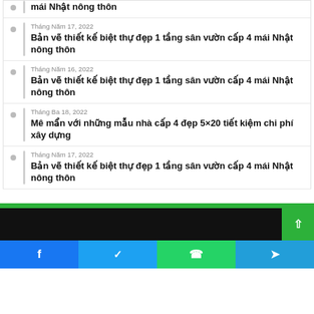Bản vẽ thiết kế biệt thự đẹp 1 tầng sân vườn cấp 4 mái Nhật nông thôn (partial, top cut off)
Tháng Năm 17, 2022 — Bản vẽ thiết kế biệt thự đẹp 1 tầng sân vườn cấp 4 mái Nhật nông thôn
Tháng Năm 16, 2022 — Bản vẽ thiết kế biệt thự đẹp 1 tầng sân vườn cấp 4 mái Nhật nông thôn
Tháng Ba 18, 2022 — Mê mẩn với những mẫu nhà cấp 4 đẹp 5×20 tiết kiệm chi phí xây dựng
Tháng Năm 17, 2022 — Bản vẽ thiết kế biệt thự đẹp 1 tầng sân vườn cấp 4 mái Nhật nông thôn
[Figure (other): Green bar, dark footer bar with scroll-to-top button, and social sharing buttons (Facebook, Twitter, WhatsApp, Telegram)]